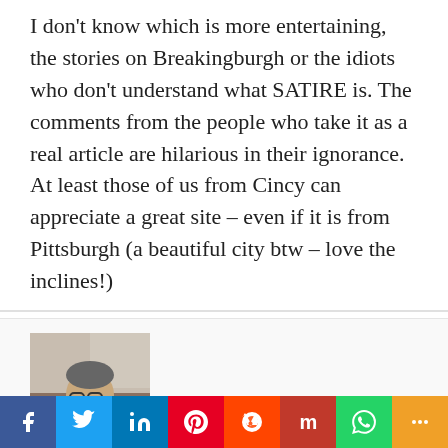I don't know which is more entertaining, the stories on Breakingburgh or the idiots who don't understand what SATIRE is. The comments from the people who take it as a real article are hilarious in their ignorance. At least those of us from Cincy can appreciate a great site – even if it is from Pittsburgh (a beautiful city btw – love the inclines!)
[Figure (photo): Profile photo of commenter Bob — a middle-aged man with glasses]
Bob | November 22, 2019 at 1:34 pm | Reply
[Figure (infographic): Social share bar with icons for Facebook, Twitter, LinkedIn, Pinterest, Reddit, Mix, WhatsApp, and More]